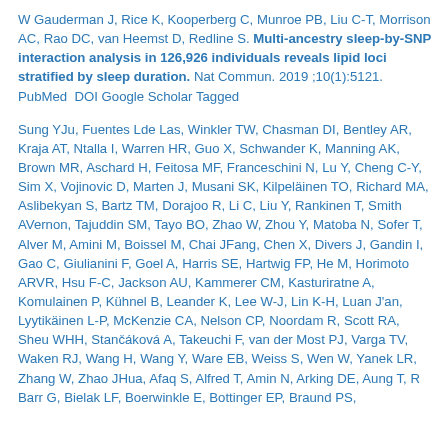W Gauderman J, Rice K, Kooperberg C, Munroe PB, Liu C-T, Morrison AC, Rao DC, van Heemst D, Redline S. Multi-ancestry sleep-by-SNP interaction analysis in 126,926 individuals reveals lipid loci stratified by sleep duration. Nat Commun. 2019 ;10(1):5121.  PubMed  DOI Google Scholar Tagged
Sung YJu, Fuentes Lde Las, Winkler TW, Chasman DI, Bentley AR, Kraja AT, Ntalla I, Warren HR, Guo X, Schwander K, Manning AK, Brown MR, Aschard H, Feitosa MF, Franceschini N, Lu Y, Cheng C-Y, Sim X, Vojinovic D, Marten J, Musani SK, Kilpeläinen TO, Richard MA, Aslibekyan S, Bartz TM, Dorajoo R, Li C, Liu Y, Rankinen T, Smith AVernon, Tajuddin SM, Tayo BO, Zhao W, Zhou Y, Matoba N, Sofer T, Alver M, Amini M, Boissel M, Chai JFang, Chen X, Divers J, Gandin I, Gao C, Giulianini F, Goel A, Harris SE, Hartwig FP, He M, Horimoto ARVR, Hsu F-C, Jackson AU, Kammerer CM, Kasturiratne A, Komulainen P, Kühnel B, Leander K, Lee W-J, Lin K-H, Luan J'an, Lyytikäinen L-P, McKenzie CA, Nelson CP, Noordam R, Scott RA, Sheu WHH, Stančáková A, Takeuchi F, van der Most PJ, Varga TV, Waken RJ, Wang H, Wang Y, Ware EB, Weiss S, Wen W, Yanek LR, Zhang W, Zhao JHua, Afaq S, Alfred T, Amin N, Arking DE, Aung T, R Barr G, Bielak LF, Boerwinkle E, Bottinger EP, Braund PS,